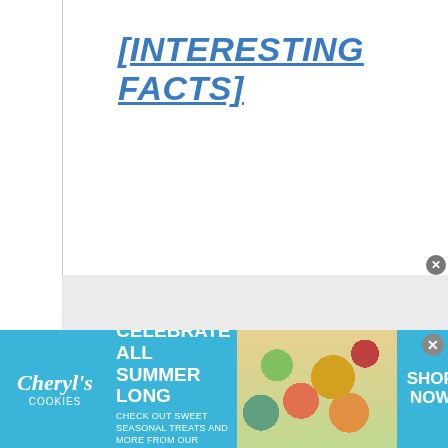[INTERESTING FACTS]
[Figure (photo): Advertisement banner for Cheryl's Cookies with text 'CELEBRATE ALL SUMMER LONG', cookies and summer food imagery, and 'SHOP NOW' call to action on a teal/blue background.]